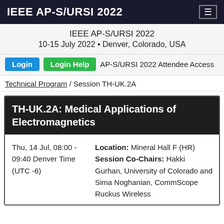IEEE AP-S/URSI 2022
IEEE AP-S/URSI 2022
10-15 July 2022 • Denver, Colorado, USA
Login  Login Help  AP-S/URSI 2022 Attendee Access
Technical Program / Session TH-UK.2A
TH-UK.2A: Medical Applications of Electromagnetics
Thu, 14 Jul, 08:00 - 09:40 Denver Time (UTC -6)
Location: Mineral Hall F (HR)
Session Co-Chairs: Hakki Gurhan, University of Colorado and Sima Noghanian, CommScope Ruckus Wireless